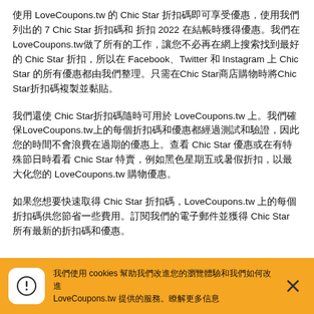使用 LoveCoupons.tw 的 Chic Star 折扣碼即可享受優惠，使用我們列出的7 Chic Star 折扣碼和 折扣 2022 在結帳時獲得優惠。我們在LoveCoupons.tw做了所有的工作，讓您不必再在網上搜索找到最好的 Chic Star 折扣，所以在 Facebook、Twitter 和 Instagram 上 Chic Star 的所有優惠都由我們整理。只需在Chic Star商店購物時將Chic Star折扣碼複製並黏貼。
我們還使 Chic Star折扣碼隨時可用於 LoveCoupons.tw 上。我們確保LoveCoupons.tw上的每個折扣碼和優惠都經過測試和驗證，因此您的時間不會浪費在過期的優惠上。查看 Chic Star 優惠或在有特殊節日時看看 Chic Star 特賣，例如黑色星期五或暑假折扣，以最大化您的LoveCoupons.tw 購物優惠。
如果您想要快速取得 Chic Star 折扣碼，LoveCoupons.tw 上的每個折扣碼供您節省一些費用。訂閱我們的電子郵件並獲得 Chic Star 所有最新的折扣碼和優惠。
我們使用 cookies 幫助我們改進您的瀏覽體驗和我們如何改進 LoveCoupons.tw 提供的服務。瞭解更多信息